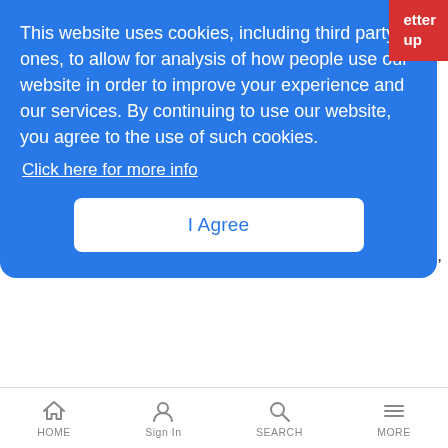[Figure (screenshot): Cookie consent banner overlay with blue background, containing text about cookie usage and an 'I Agree' button]
This website uses cookies, including third party ones, to allow for analysis of how people use our website in order to improve your experience and our services. By continuing to use our website, you agree to the use of such cookies.
Click here for more info
I Agree
Eurobites: So Shrink Me
News Analysis | 7/22/2005
Will Europe's carrier consolidation ever end? The latest M&A news and gossip, plus Telecom Italia's IPTV trials
HOME  Sign In  SEARCH  MORE